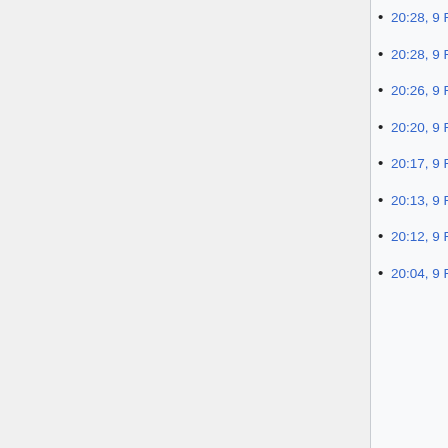20:28, 9 February 2014 (diff | hist) . . (-6) . . Separation processes (→Column Sizing)
20:28, 9 February 2014 (diff | hist) . . (+3) . . Separation processes (→Column Sizing)
20:26, 9 February 2014 (diff | hist) . . (+441) . . Separation processes (→Column Sizing)
20:20, 9 February 2014 (diff | hist) . . (-136) . . Separation processes (→Column Sizing)
20:17, 9 February 2014 (diff | hist) . . (+200) . . Separation processes (→Column Sizing)
20:13, 9 February 2014 (diff | hist) . . (+4) . . Separation processes (→Flow Patterns)
20:12, 9 February 2014 (diff | hist) . . (+379) . . Separation processes (→Stages)
20:04, 9 February 2014 (diff | hist) . . (+574) . . Separation processes